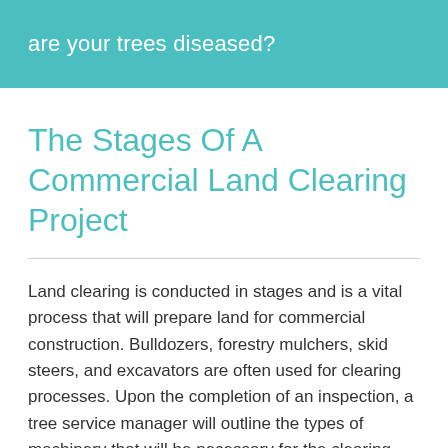are your trees diseased?
The Stages Of A Commercial Land Clearing Project
Land clearing is conducted in stages and is a vital process that will prepare land for commercial construction. Bulldozers, forestry mulchers, skid steers, and excavators are often used for clearing processes. Upon the completion of an inspection, a tree service manager will outline the types of machinery that will be necessary for the clearing project.